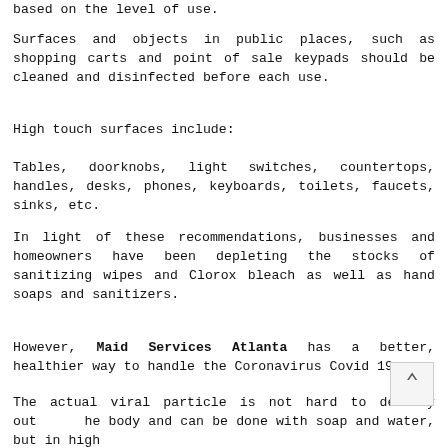based on the level of use.
Surfaces and objects in public places, such as shopping carts and point of sale keypads should be cleaned and disinfected before each use.
High touch surfaces include:
Tables, doorknobs, light switches, countertops, handles, desks, phones, keyboards, toilets, faucets, sinks, etc.
In light of these recommendations, businesses and homeowners have been depleting the stocks of sanitizing wipes and Clorox bleach as well as hand soaps and sanitizers.
However, Maid Services Atlanta has a better, healthier way to handle the Coronavirus Covid 19.
The actual viral particle is not hard to destroy outside the body and can be done with soap and water, but in high